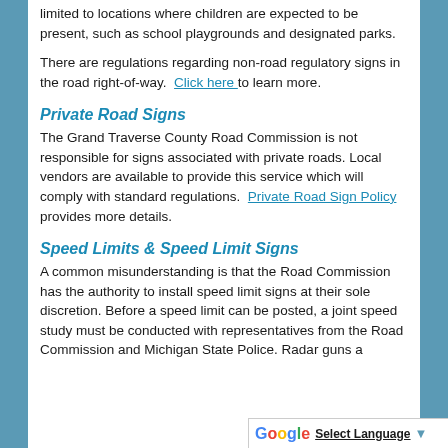limited to locations where children are expected to be present, such as school playgrounds and designated parks.
There are regulations regarding non-road regulatory signs in the road right-of-way. Click here to learn more.
Private Road Signs
The Grand Traverse County Road Commission is not responsible for signs associated with private roads. Local vendors are available to provide this service which will comply with standard regulations. Private Road Sign Policy provides more details.
Speed Limits & Speed Limit Signs
A common misunderstanding is that the Road Commission has the authority to install speed limit signs at their sole discretion. Before a speed limit can be posted, a joint speed study must be conducted with representatives from the Road Commission and Michigan State Police. Radar guns a